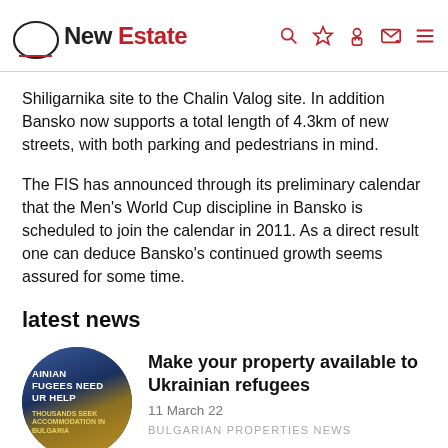New Estate
Shiligarnika site to the Chalin Valog site. In addition Bansko now supports a total length of 4.3km of new streets, with both parking and pedestrians in mind.
The FIS has announced through its preliminary calendar that the Men's World Cup discipline in Bansko is scheduled to join the calendar in 2011. As a direct result one can deduce Bansko's continued growth seems assured for some time.
latest news
[Figure (photo): Circular thumbnail image with text overlay: 'AINIAN FUGEES NEED UR HELP' and 'THOUSANDS SEEK ACCOMMODATION IN BULGARIA']
Make your property available to Ukrainian refugees
11 March 22
BULGARIAN PROPERTIES NEWS